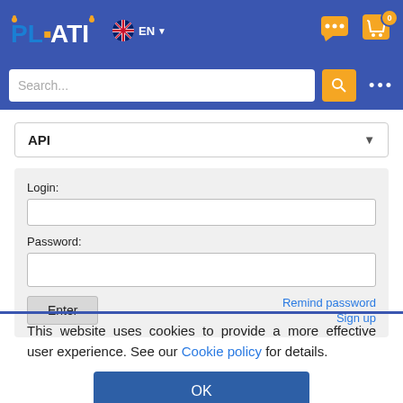[Figure (screenshot): PLATI website header with logo, EN language selector, chat icon, and shopping cart with badge '0']
[Figure (screenshot): Search bar with placeholder 'Search...' and orange search button, with '...' menu]
API
Login:
Password:
Enter
Remind password
Sign up
This website uses cookies to provide a more effective user experience. See our Cookie policy for details.
OK